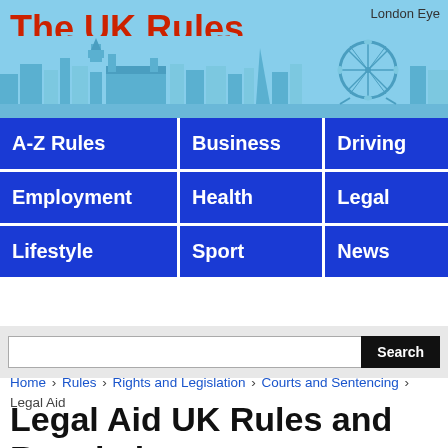The UK Rules
[Figure (illustration): London skyline with Big Ben and London Eye labels, light blue background]
A-Z Rules | Business | Driving | Employment | Health | Legal | Lifestyle | Sport | News
Search
Home › Rules › Rights and Legislation › Courts and Sentencing › Legal Aid
Legal Aid UK Rules and Regulations